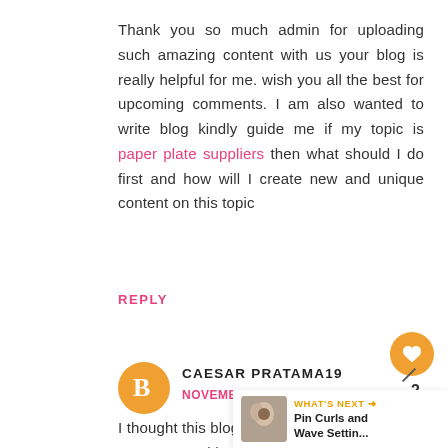Thank you so much admin for uploading such amazing content with us your blog is really helpful for me. wish you all the best for upcoming comments. I am also wanted to write blog kindly guide me if my topic is paper plate suppliers then what should I do first and how will I create new and unique content on this topic
REPLY
[Figure (illustration): Orange circle avatar with a white blogger B icon]
CAESAR PRATAMA19
NOVEMBER 13, 2021 AT 10:29 AM
I thought this blog was not very good but when I opened it, it was amazing Megawin
[Figure (illustration): Orange heart button icon, number 2, and share button]
[Figure (illustration): What's Next panel with small photo thumbnail and text: Pin Curls and Wave Settin...]